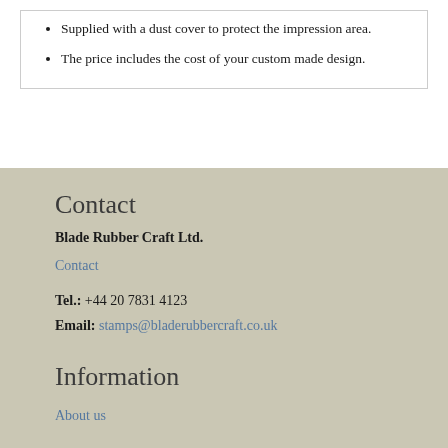Supplied with a dust cover to protect the impression area.
The price includes the cost of your custom made design.
Contact
Blade Rubber Craft Ltd.
Contact
Tel.: +44 20 7831 4123
Email: stamps@bladerubbercraft.co.uk
Information
About us